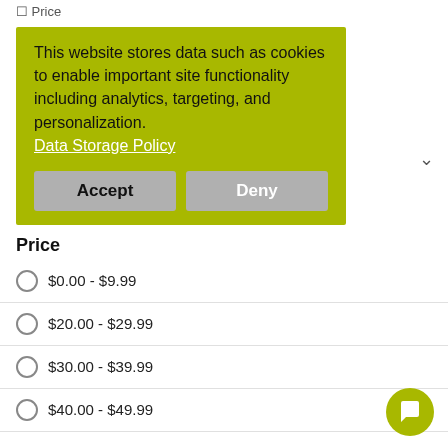Price
[Figure (screenshot): Cookie consent banner with olive/yellow-green background. Text reads: 'This website stores data such as cookies to enable important site functionality including analytics, targeting, and personalization. Data Storage Policy'. Two buttons: Accept and Deny.]
Price
$0.00 - $9.99
$20.00 - $29.99
$30.00 - $39.99
$40.00 - $49.99